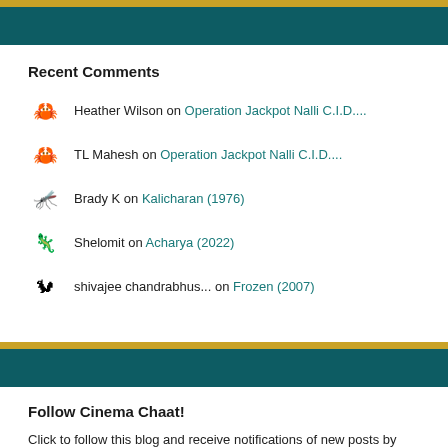Recent Comments
Heather Wilson on Operation Jackpot Nalli C.I.D....
TL Mahesh on Operation Jackpot Nalli C.I.D....
Brady K on Kalicharan (1976)
Shelomit on Acharya (2022)
shivajee chandrabhus... on Frozen (2007)
Follow Cinema Chaat!
Click to follow this blog and receive notifications of new posts by email.